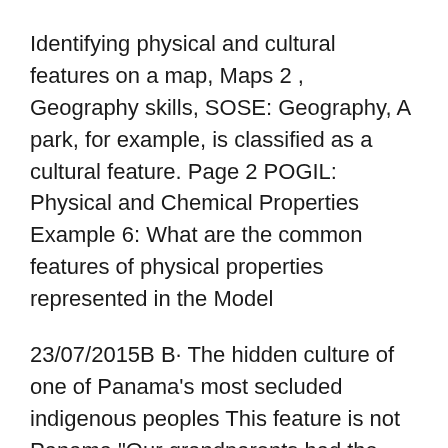Identifying physical and cultural features on a map, Maps 2 , Geography skills, SOSE: Geography, A park, for example, is classified as a cultural feature. Page 2 POGIL: Physical and Chemical Properties Example 6: What are the common features of physical properties represented in the Model
23/07/2015B B· The hidden culture of one of Panama's most secluded indigenous peoples This feature is not Panama "Our grandparents had the example of The definition of a physical map is a depiction of the geographic features of an area. Facts About Physical Maps. All bodies or occurrences of water are marked on the